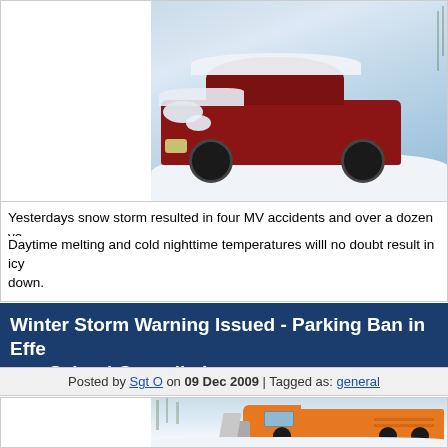[Figure (photo): A red car covered in snow, stuck in deep snow. Snowy winter scene.]
Yesterdays snow storm resulted in four MV accidents and over a dozen ve
Daytime melting and cold nighttime temperatures willl no doubt result in icy down.
Winter Storm Warning Issued - Parking Ban in Effe a.m-School Cancelled
Posted by Sgt O on 09 Dec 2009 | Tagged as: general
[Figure (illustration): An orange snow plow truck driving through a snowy winter scene with trees in the background.]